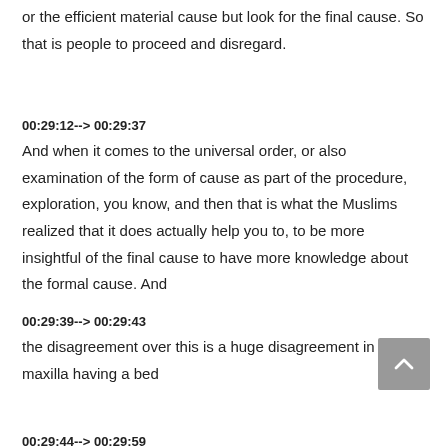or the efficient material cause but look for the final cause. So that is people to proceed and disregard.
00:29:12--> 00:29:37
And when it comes to the universal order, or also examination of the form of cause as part of the procedure, exploration, you know, and then that is what the Muslims realized that it does actually help you to, to be more insightful of the final cause to have more knowledge about the formal cause. And
00:29:39--> 00:29:43
the disagreement over this is a huge disagreement in the maxilla having a bed
00:29:44--> 00:29:59